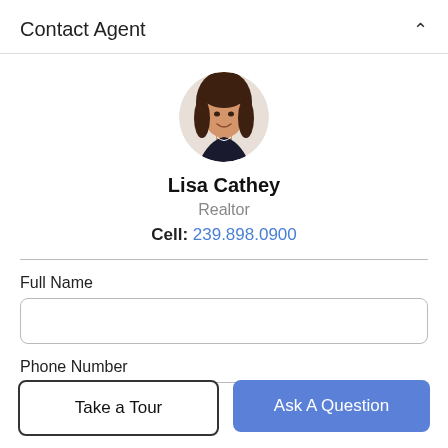Contact Agent
[Figure (photo): Headshot photo of Lisa Cathey, a woman with brown hair, smiling, circular cropped]
Lisa Cathey
Realtor
Cell: 239.898.0900
Full Name
Phone Number
Take a Tour
Ask A Question